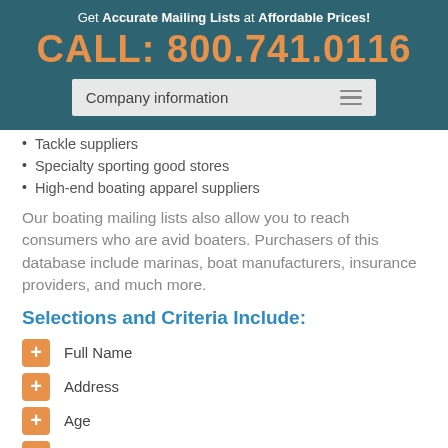Get Accurate Mailing Lists at Affordable Prices!
CALL: 800.741.0116
Company information
Tackle suppliers
Specialty sporting good stores
High-end boating apparel suppliers
Our boating mailing lists also allow you to reach consumers who are avid boaters. Purchasers of this database include marinas, boat manufacturers, insurance providers, and much more.
Selections and Criteria Include:
Full Name
Address
Age
Income
Ethnicity